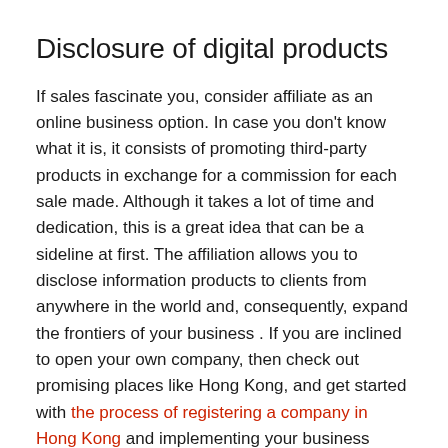Disclosure of digital products
If sales fascinate you, consider affiliate as an online business option. In case you don't know what it is, it consists of promoting third-party products in exchange for a commission for each sale made. Although it takes a lot of time and dedication, this is a great idea that can be a sideline at first. The affiliation allows you to disclose information products to clients from anywhere in the world and, consequently, expand the frontiers of your business . If you are inclined to open your own company, then check out promising places like Hong Kong, and get started with the process of registering a company in Hong Kong and implementing your business design.